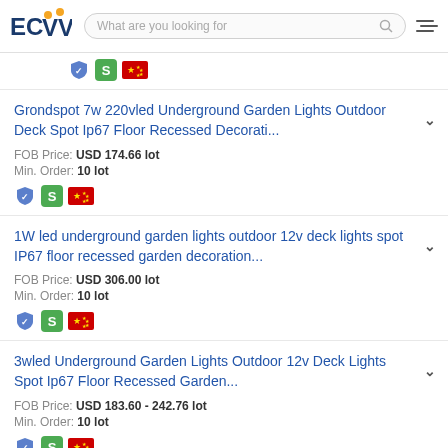ECVV - What are you looking for
Grondspot 7w 220vled Underground Garden Lights Outdoor Deck Spot Ip67 Floor Recessed Decorati... | FOB Price: USD 174.66 lot | Min. Order: 10 lot
1W led underground garden lights outdoor 12v deck lights spot IP67 floor recessed garden decoration... | FOB Price: USD 306.00 lot | Min. Order: 10 lot
3wled Underground Garden Lights Outdoor 12v Deck Lights Spot Ip67 Floor Recessed Garden... | FOB Price: USD 183.60 - 242.76 lot | Min. Order: 10 lot